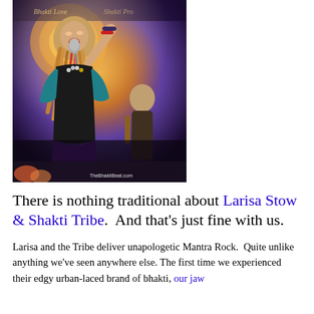[Figure (photo): A woman with dreadlocks singing into a microphone on stage, wearing a black top and teal accessories. Another person visible in the background. Watermark reads 'TheBhaktiBeat.com'.]
There is nothing traditional about Larisa Stow & Shakti Tribe.  And that's just fine with us.
Larisa and the Tribe deliver unapologetic Mantra Rock.  Quite unlike anything we've seen anywhere else. The first time we experienced their edgy urban-laced brand of bhakti, our jaw